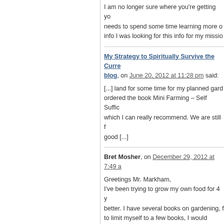I am no longer sure where you're getting yo... needs to spend some time learning more o... info I was looking for this info for my missio...
My Strategy to Spiritually Survive the Curre... blog, on June 20, 2012 at 11:28 pm said:
[...] land for some time for my planned gard... ordered the book Mini Farming – Self Suffic... which I can really recommend. We are still f... good [...]
Bret Mosher, on December 29, 2012 at 7:49 a...
Greetings Mr. Markham,
I've been trying to grow my own food for 4 y... better. I have several books on gardening, f... to limit myself to a few books, I would choos... straight forward information that I can apply... lore, recipes are interesting but not very pra... science, and your experience that has incre... Well done and thank you.
Bret Mosher O.M.D., L.Ac.
Poway, CA